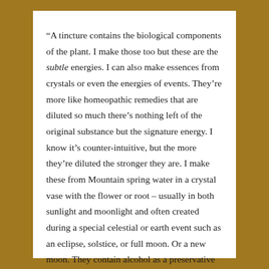“A tincture contains the biological components of the plant. I make those too but these are the subtle energies. I can also make essences from crystals or even the energies of events. They’re more like homeopathic remedies that are diluted so much there’s nothing left of the original substance but the signature energy. I know it’s counter-intuitive, but the more they’re diluted the stronger they are. I make these from Mountain spring water in a crystal vase with the flower or root – usually in both sunlight and moonlight and often created during a special celestial or earth event such as an eclipse, solstice, or full moon. Or a new moon. They contain alcohol as a preservative so I don’t use them myself except when they are fresh – or from the freezer.
“Because they are Spirit Medicine they operate on a subtle level of one’s being. Always they come from a being – a plant, a place, a stone – that wanted to give its gift to us humans. I listen to the meaning & character of each gift as told to me by the being itself.”